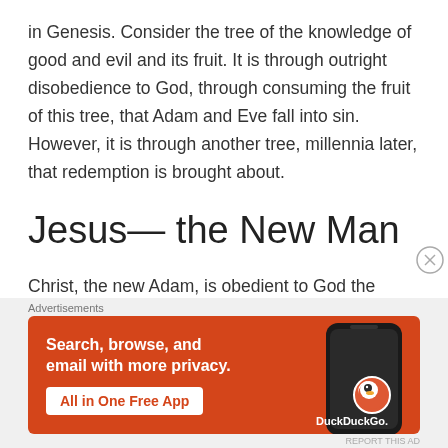in Genesis. Consider the tree of the knowledge of good and evil and its fruit. It is through outright disobedience to God, through consuming the fruit of this tree, that Adam and Eve fall into sin. However, it is through another tree, millennia later, that redemption is brought about.
Jesus— the New Man
Christ, the new Adam, is obedient to God the Father, even unto death. Sin came into the world
[Figure (screenshot): DuckDuckGo advertisement banner with orange background. Text: 'Search, browse, and email with more privacy. All in One Free App'. Shows DuckDuckGo logo and a phone mockup.]